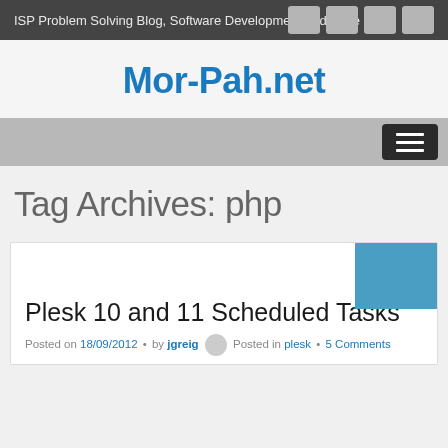ISP Problem Solving Blog, Software Development and More
Mor-Pah.net
Tag Archives: php
Plesk 10 and 11 Scheduled Tasks
Posted on 18/09/2012 • by jgreig Posted in plesk • 5 Comments